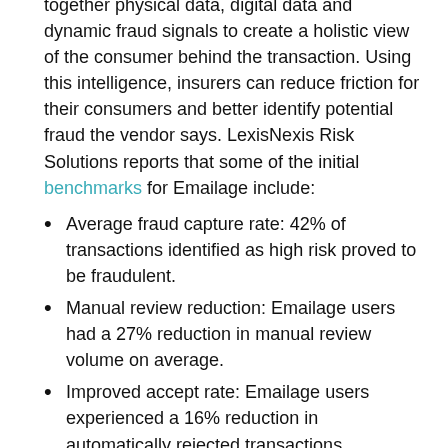together physical data, digital data and dynamic fraud signals to create a holistic view of the consumer behind the transaction. Using this intelligence, insurers can reduce friction for their consumers and better identify potential fraud the vendor says. LexisNexis Risk Solutions reports that some of the initial benchmarks for Emailage include:
Average fraud capture rate: 42% of transactions identified as high risk proved to be fraudulent.
Manual review reduction: Emailage users had a 27% reduction in manual review volume on average.
Improved accept rate: Emailage users experienced a 16% reduction in automatically rejected transactions.
“The global pandemic has dramatically expedited the insurance industry’s adoption of digital business,” comment Kim Brown, director of product management at LexisNexis Risk Solutions. “With so many transactions happening online, it is critical that insurers provide a seamless online experience while protecting themselves and their consumers from cybercriminals and fraudsters. Emailage can provide another layer of security to the insurance workflow, anywhere from quote to claim and beyond, giving carriers peace of